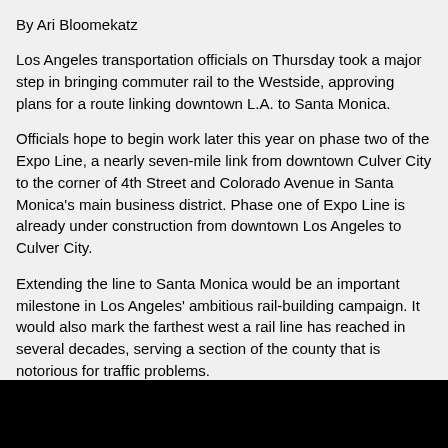By Ari Bloomekatz
Los Angeles transportation officials on Thursday took a major step in bringing commuter rail to the Westside, approving plans for a route linking downtown L.A. to Santa Monica.
Officials hope to begin work later this year on phase two of the Expo Line, a nearly seven-mile link from downtown Culver City to the corner of 4th Street and Colorado Avenue in Santa Monica's main business district. Phase one of Expo Line is already under construction from downtown Los Angeles to Culver City.
Extending the line to Santa Monica would be an important milestone in Los Angeles' ambitious rail-building campaign. It would also mark the farthest west a rail line has reached in several decades, serving a section of the county that is notorious for traffic problems.
"Every other part of Los Angeles has been served by mass public transportation," said Los Angeles County Supervisor Zev Yaroslavsky, who represents the Westside. "This part of town, this part of the county has waited a long time for this."
Transportation planners believe they will have the $1.5 billion in local and state money to build it.